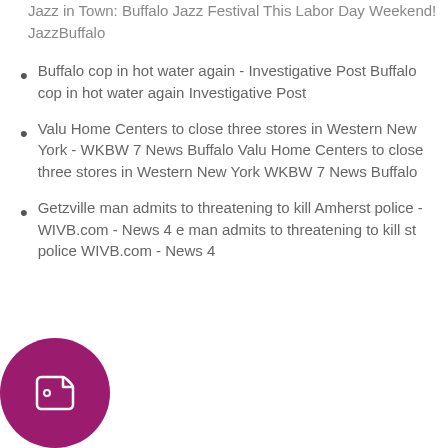Jazz in Town: Buffalo Jazz Festival This Labor Day Weekend!  JazzBuffalo
Buffalo cop in hot water again - Investigative Post Buffalo cop in hot water again  Investigative Post
Valu Home Centers to close three stores in Western New York - WKBW 7 News Buffalo Valu Home Centers to close three stores in Western New York  WKBW 7 News Buffalo
Getzville man admits to threatening to kill Amherst police - WIVB.com - News 4 e man admits to threatening to kill st police  WIVB.com - News 4